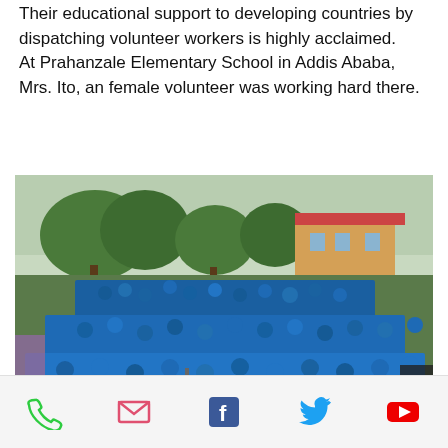Their educational support to developing countries by dispatching volunteer workers is highly acclaimed. At Prahanzale Elementary School in Addis Ababa, Mrs. Ito, an female volunteer was working hard there.
[Figure (photo): A large group of students wearing blue uniforms gathered outdoors at Prahanzale Elementary School in Addis Ababa, with trees and a yellow building in the background.]
[Figure (infographic): Footer bar with social/contact icons: phone (green), email (red/pink envelope), Facebook (blue), Twitter (blue bird), YouTube (red).]